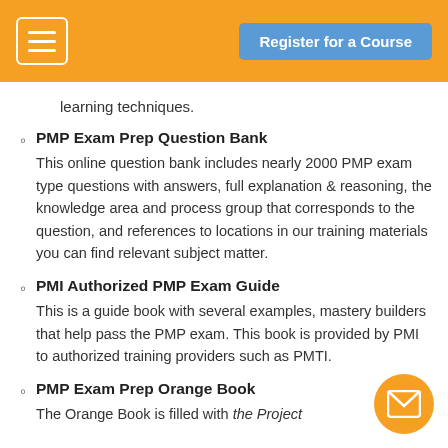Register for a Course
learning techniques.
PMP Exam Prep Question Bank – This online question bank includes nearly 2000 PMP exam type questions with answers, full explanation & reasoning, the knowledge area and process group that corresponds to the question, and references to locations in our training materials you can find relevant subject matter.
PMI Authorized PMP Exam Guide – This is a guide book with several examples, mastery builders that help pass the PMP exam. This book is provided by PMI to authorized training providers such as PMTI.
PMP Exam Prep Orange Book – The Orange Book is filled with the Project